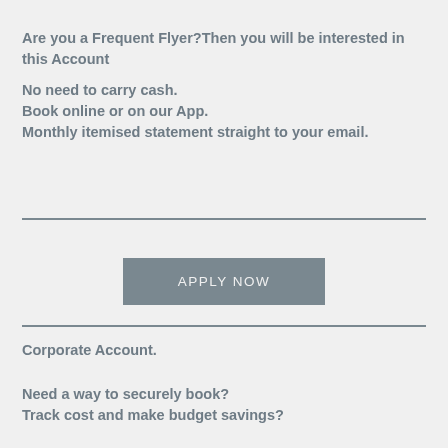Are you a Frequent Flyer?Then you will be interested in this Account
No need to carry cash.
Book online or on our App.
Monthly itemised statement straight to your email.
[Figure (other): Horizontal divider line]
[Figure (other): APPLY NOW button]
[Figure (other): Horizontal divider line]
Corporate Account.
Need a way to securely book?
Track cost and make budget savings?